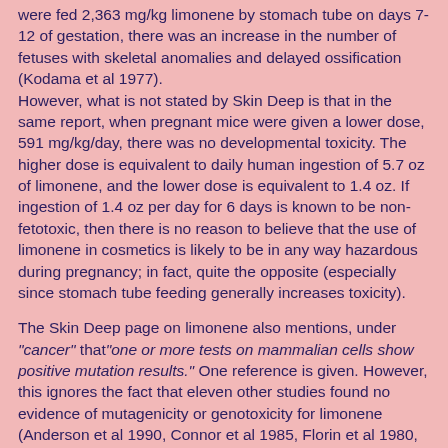were fed 2,363 mg/kg limonene by stomach tube on days 7-12 of gestation, there was an increase in the number of fetuses with skeletal anomalies and delayed ossification (Kodama et al 1977). However, what is not stated by Skin Deep is that in the same report, when pregnant mice were given a lower dose, 591 mg/kg/day, there was no developmental toxicity. The higher dose is equivalent to daily human ingestion of 5.7 oz of limonene, and the lower dose is equivalent to 1.4 oz. If ingestion of 1.4 oz per day for 6 days is known to be non-fetotoxic, then there is no reason to believe that the use of limonene in cosmetics is likely to be in any way hazardous during pregnancy; in fact, quite the opposite (especially since stomach tube feeding generally increases toxicity).
The Skin Deep page on limonene also mentions, under "cancer" that"one or more tests on mammalian cells show positive mutation results." One reference is given. However, this ignores the fact that eleven other studies found no evidence of mutagenicity or genotoxicity for limonene (Anderson et al 1990, Connor et al 1985, Florin et al 1980, Haworth et al 1983, Myhr et al 1990, Pienta 1980, Sandman et al 1990, Sekihashi et al 2003, Tong et al 1981,